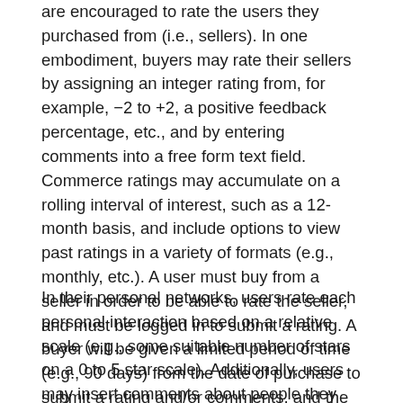are encouraged to rate the users they purchased from (i.e., sellers). In one embodiment, buyers may rate their sellers by assigning an integer rating from, for example, −2 to +2, a positive feedback percentage, etc., and by entering comments into a free form text field. Commerce ratings may accumulate on a rolling interval of interest, such as a 12-month basis, and include options to view past ratings in a variety of formats (e.g., monthly, etc.). A user must buy from a seller in order to be able to rate the seller, and must be logged in to submit a rating. A buyer will be given a limited period of time (e.g., 90 days) from the date of purchase to submit a rating and/or comments, and the comments are not screened.
In their personal networks, users rate each personal interaction based on a relative scale (e.g., some suitable number of stars on a 0 to 5 star scale). Additionally, users may insert comments about people they rate. Users may rate one another as many times and as often as desired, but multiple comments preferably do not overwrite previously written comments. However, in one embodiment, each user must set up a profile to give another user a personal rating. In addition, a user must be